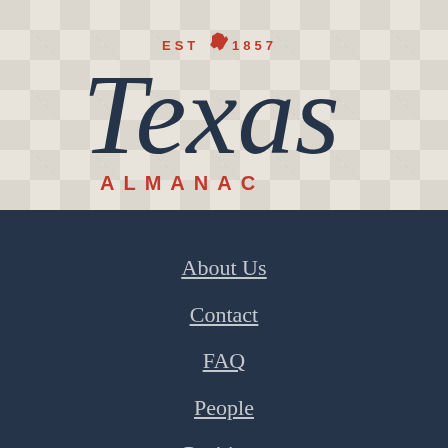[Figure (logo): Texas Almanac logo: cursive 'Texas' in dark navy blue with 'EST 1857' above in red with a red Texas state outline icon, and 'ALMANAC' below in red block capital letters. Background is beige/cream with subtle geometric triangle pattern.]
About Us
Contact
FAQ
People
Positions